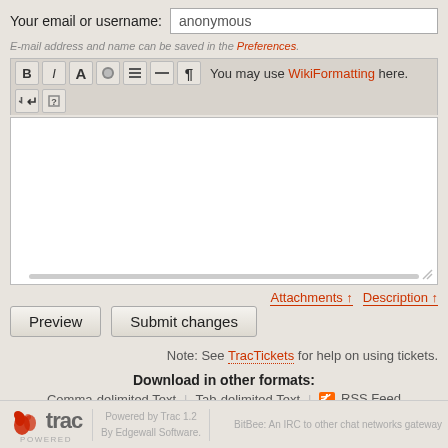Your email or username: anonymous
E-mail address and name can be saved in the Preferences.
[Figure (screenshot): Text editor toolbar with bold, italic, font, and formatting buttons, plus a note: You may use WikiFormatting here.]
[Figure (screenshot): Large empty text area input for comment/description entry]
Attachments ↑   Description ↑
Preview   Submit changes
Note: See TracTickets for help on using tickets.
Download in other formats:
Comma-delimited Text | Tab-delimited Text | RSS Feed
trac POWERED   Powered by Trac 1.2 By Edgewall Software.   BitBee: An IRC to other chat networks gateway